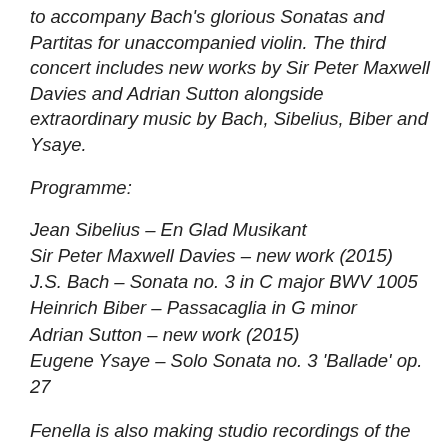to accompany Bach's glorious Sonatas and Partitas for unaccompanied violin. The third concert includes new works by Sir Peter Maxwell Davies and Adrian Sutton alongside extraordinary music by Bach, Sibelius, Biber and Ysaye.
Programme:
Jean Sibelius – En Glad Musikant
Sir Peter Maxwell Davies – new work (2015)
J.S. Bach – Sonata no. 3 in C major BWV 1005
Heinrich Biber – Passacaglia in G minor
Adrian Sutton – new work (2015)
Eugene Ysaye – Solo Sonata no. 3 'Ballade' op. 27
Fenella is also making studio recordings of the project for Champs Hill Records over two CDs – 'Volume One' was released in August 2015.